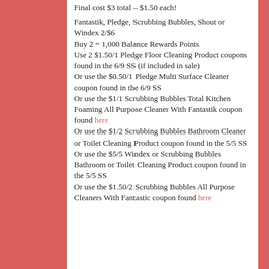Final cost $3 total – $1.50 each!

Fantastik, Pledge, Scrubbing Bubbles, Shout or Windex 2/$6
Buy 2 = 1,000 Balance Rewards Points
Use 2 $1.50/1 Pledge Floor Cleaning Product coupons found in the 6/9 SS (if included in sale)
Or use the $0.50/1 Pledge Multi Surface Cleaner coupon found in the 6/9 SS
Or use the $1/1 Scrubbing Bubbles Total Kitchen Foaming All Purpose Cleaner With Fantastik coupon found here
Or use the $1/2 Scrubbing Bubbles Bathroom Cleaner or Toilet Cleaning Product coupon found in the 5/5 SS
Or use the $5/5 Windex or Scrubbing Bubbles Bathroom or Toilet Cleaning Product coupon found in the 5/5 SS
Or use the $1.50/2 Scrubbing Bubbles All Purpose Cleaners With Fantastic coupon found here